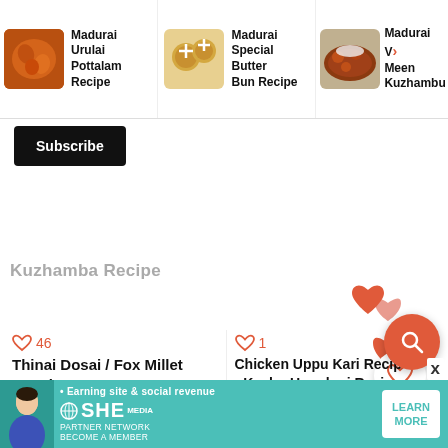[Figure (screenshot): Top navigation bar showing three recipe cards with food images and titles: Madurai Urulai Pottalam Recipe, Madurai Special Butter Bun Recipe, Madurai V... Meen > Kuzhambu]
Subscribe
Kuzhamba Recipe
[Figure (illustration): Heart icons (like buttons) in salmon/orange-red color, floating UI elements]
136
46
Thinai Dosai / Fox Millet Dosai
Chicken Uppu Kari Recipe • Kozhu Uppukari Recipe
[Figure (infographic): SHE Partner Network advertisement banner with woman's photo, text 'Earning site & social revenue', SHE MEDIA logo, and LEARN MORE button on teal background]